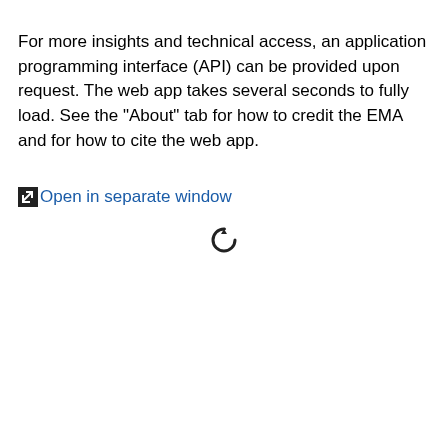For more insights and technical access, an application programming interface (API) can be provided upon request. The web app takes several seconds to fully load. See the "About" tab for how to credit the EMA and for how to cite the web app.
Open in separate window
[Figure (other): A circular loading/refresh spinner icon]